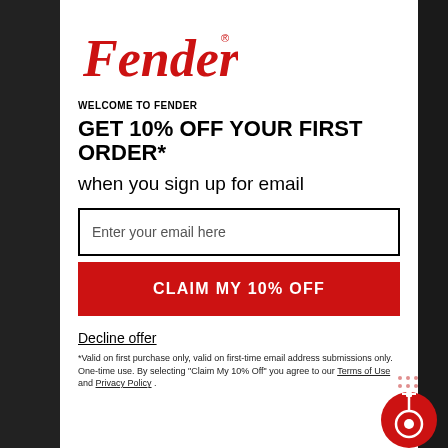[Figure (logo): Fender cursive script logo in red with registered trademark symbol]
WELCOME TO FENDER
GET 10% OFF YOUR FIRST ORDER*
when you sign up for email
Enter your email here
CLAIM MY 10% OFF
Decline offer
[Figure (logo): Fender guitar icon in white on red circle with dot grid background]
*Valid on first purchase only, valid on first-time email address submissions only. One-time use. By selecting "Claim My 10% Off" you agree to our Terms of Use and Privacy Policy .